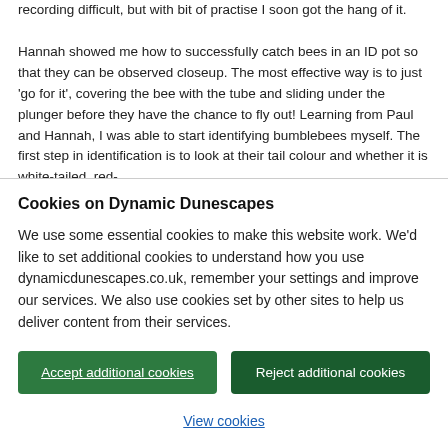recording difficult, but with bit of practise I soon got the hang of it.

Hannah showed me how to successfully catch bees in an ID pot so that they can be observed closeup. The most effective way is to just 'go for it', covering the bee with the tube and sliding under the plunger before they have the chance to fly out! Learning from Paul and Hannah, I was able to start identifying bumblebees myself. The first step in identification is to look at their tail colour and whether it is white-tailed, red-
Cookies on Dynamic Dunescapes
We use some essential cookies to make this website work. We'd like to set additional cookies to understand how you use dynamicdunescapes.co.uk, remember your settings and improve our services. We also use cookies set by other sites to help us deliver content from their services.
Accept additional cookies
Reject additional cookies
View cookies